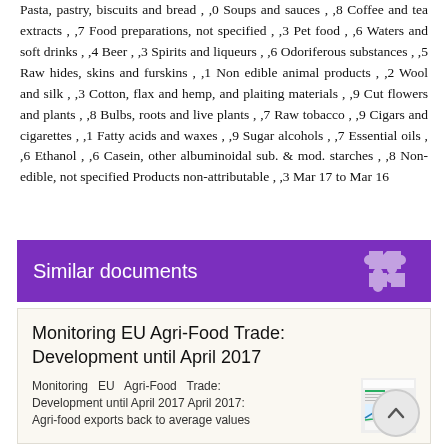Pasta, pastry, biscuits and bread , ,0 Soups and sauces , ,8 Coffee and tea extracts , ,7 Food preparations, not specified , ,3 Pet food , ,6 Waters and soft drinks , ,4 Beer , ,3 Spirits and liqueurs , ,6 Odoriferous substances , ,5 Raw hides, skins and furskins , ,1 Non edible animal products , ,2 Wool and silk , ,3 Cotton, flax and hemp, and plaiting materials , ,9 Cut flowers and plants , ,8 Bulbs, roots and live plants , ,7 Raw tobacco , ,9 Cigars and cigarettes , ,1 Fatty acids and waxes , ,9 Sugar alcohols , ,7 Essential oils , ,6 Ethanol , ,6 Casein, other albuminoidal sub. & mod. starches , ,8 Non-edible, not specified Products non-attributable , ,3 Mar 17 to Mar 16
Similar documents
Monitoring EU Agri-Food Trade: Development until April 2017
Monitoring EU Agri-Food Trade: Development until April 2017 April 2017: Agri-food exports back to average values